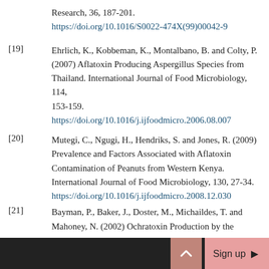Research, 36, 187-201. https://doi.org/10.1016/S0022-474X(99)00042-9
[19] Ehrlich, K., Kobbeman, K., Montalbano, B. and Colty, P. (2007) Aflatoxin Producing Aspergillus Species from Thailand. International Journal of Food Microbiology, 114, 153-159. https://doi.org/10.1016/j.ijfoodmicro.2006.08.007
[20] Mutegi, C., Ngugi, H., Hendriks, S. and Jones, R. (2009) Prevalence and Factors Associated with Aflatoxin Contamination of Peanuts from Western Kenya. International Journal of Food Microbiology, 130, 27-34. https://doi.org/10.1016/j.ijfoodmicro.2008.12.030
[21] Bayman, P., Baker, J., Doster, M., Michaildes, T. and Mahoney, N. (2002) Ochratoxin Production by the
Sign up